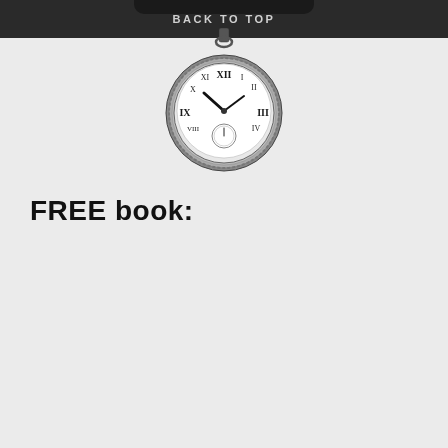BACK TO TOP
[Figure (illustration): A detailed black and white pocket watch with Roman numerals, hanging from a chain loop at the top. The watch face shows approximately 10:10 time with a small seconds subdial at the bottom.]
FREE book: